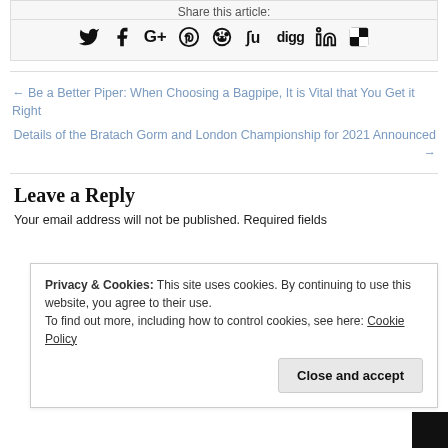Share this article:
[Figure (infographic): Row of social media sharing icons: Twitter, Facebook, Google+, Pinterest, Reddit, StumbleUpon, Digg, LinkedIn, and one more icon]
← Be a Better Piper: When Choosing a Bagpipe, It is Vital that You Get it Right
Details of the Bratach Gorm and London Championship for 2021 Announced →
Leave a Reply
Your email address will not be published. Required fields
Privacy & Cookies: This site uses cookies. By continuing to use this website, you agree to their use.
To find out more, including how to control cookies, see here: Cookie Policy